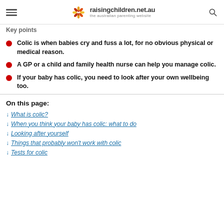raisingchildren.net.au — the australian parenting website
Key points
Colic is when babies cry and fuss a lot, for no obvious physical or medical reason.
A GP or a child and family health nurse can help you manage colic.
If your baby has colic, you need to look after your own wellbeing too.
On this page:
What is colic?
When you think your baby has colic: what to do
Looking after yourself
Things that probably won't work with colic
Tests for colic